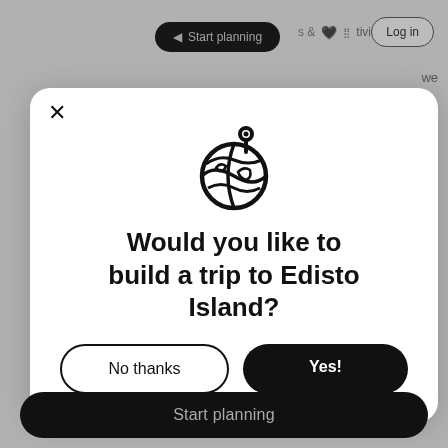[Figure (screenshot): Travel planning website background with navigation bar showing 'Start planning', activities icons, help icon, and Log in button. Gray background with partial teal content visible on left side.]
[Figure (illustration): Globe icon with a location pin on top, drawn in bold black outline style]
Would you like to build a trip to Edisto Island?
No thanks
Yes!
Start planning